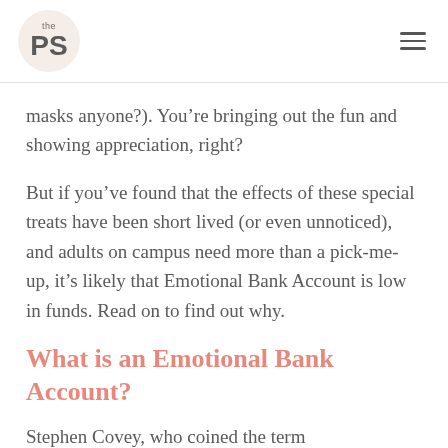the PS
masks anyone?). You're bringing out the fun and showing appreciation, right?
But if you've found that the effects of these special treats have been short lived (or even unnoticed), and adults on campus need more than a pick-me-up, it's likely that Emotional Bank Account is low in funds. Read on to find out why.
What is an Emotional Bank Account?
Stephen Covey, who coined the term